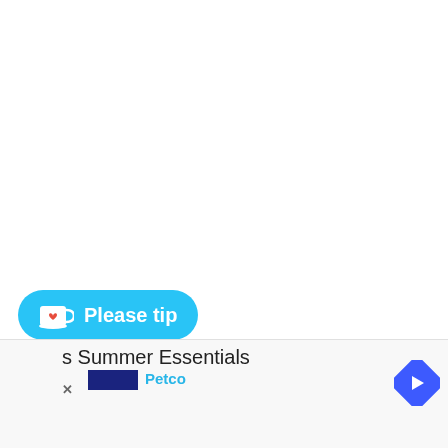[Figure (screenshot): A 'Please tip' button with a coffee cup icon on a cyan/blue background, appearing as a floating overlay at the bottom-left of a mostly white webpage. Below it is an advertisement banner showing 's Summer Essentials' text, a Petco logo, a blue bar, a navigation arrow icon, and a close (X) button.]